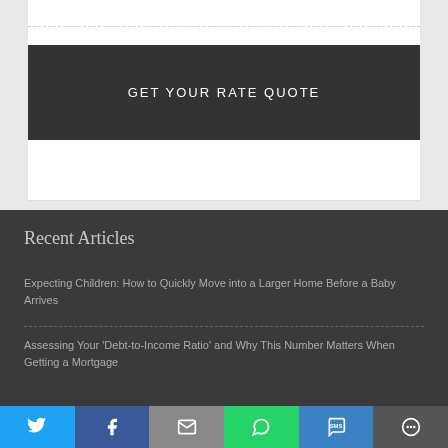GET YOUR RATE QUOTE
Recent Articles
Expecting Children: How to Quickly Move into a Larger Home Before a Baby Arrives
Assessing Your 'Debt-to-Income Ratio' and Why This Number Matters When Getting a Mortgage
Share bar with Twitter, Facebook, Email, WhatsApp, SMS, More